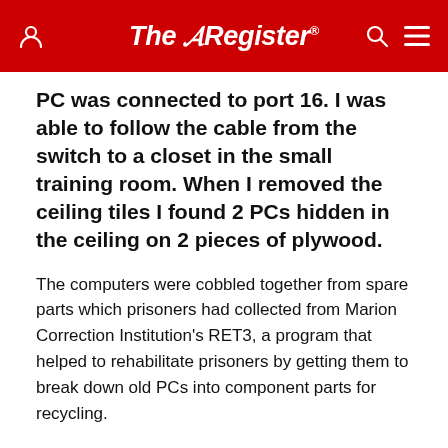The Register
PC was connected to port 16. I was able to follow the cable from the switch to a closet in the small training room. When I removed the ceiling tiles I found 2 PCs hidden in the ceiling on 2 pieces of plywood.
The computers were cobbled together from spare parts which prisoners had collected from Marion Correction Institution's RET3, a program that helped to rehabilitate prisoners by getting them to break down old PCs into component parts for recycling.
Forensic analysis of the computers completed by the Ohio Inspector General revealed that the users exploited their access to the ODRC's systems to issue